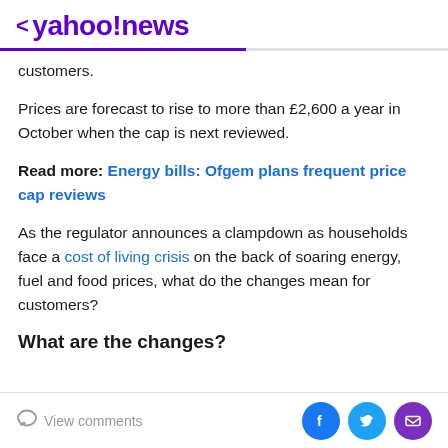< yahoo!news
customers.
Prices are forecast to rise to more than £2,600 a year in October when the cap is next reviewed.
Read more: Energy bills: Ofgem plans frequent price cap reviews
As the regulator announces a clampdown as households face a cost of living crisis on the back of soaring energy, fuel and food prices, what do the changes mean for customers?
What are the changes?
View comments